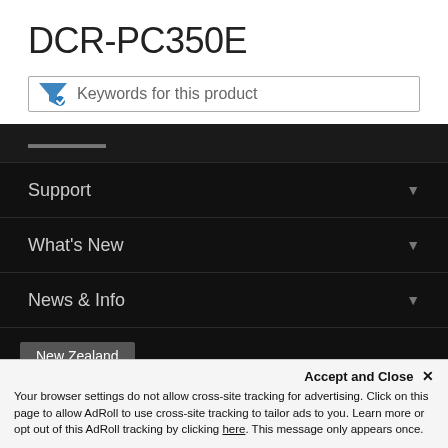DCR-PC350E
Keywords for this product
Support
What's New
News & Info
New Zealand
Accept and Close ✕ Your browser settings do not allow cross-site tracking for advertising. Click on this page to allow AdRoll to use cross-site tracking to tailor ads to you. Learn more or opt out of this AdRoll tracking by clicking here. This message only appears once.